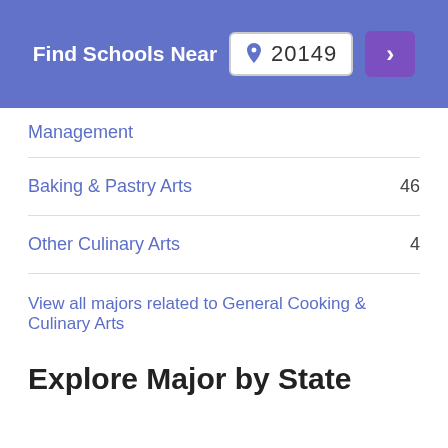Find Schools Near 20149
Management
Baking & Pastry Arts  46
Other Culinary Arts  4
View all majors related to General Cooking & Culinary Arts
Explore Major by State